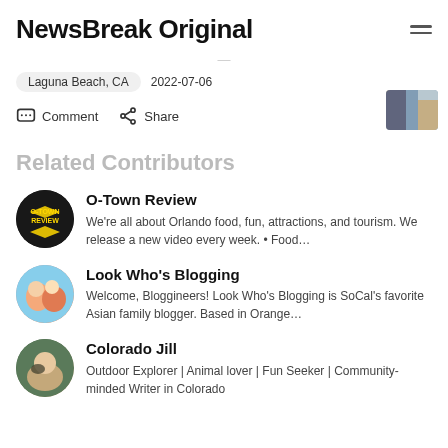NewsBreak Original
Laguna Beach, CA   2022-07-06
Comment   Share
Related Contributors
O-Town Review
We're all about Orlando food, fun, attractions, and tourism. We release a new video every week. • Food…
Look Who's Blogging
Welcome, Bloggineers! Look Who's Blogging is SoCal's favorite Asian family blogger. Based in Orange…
Colorado Jill
Outdoor Explorer | Animal lover | Fun Seeker | Community-minded Writer in Colorado